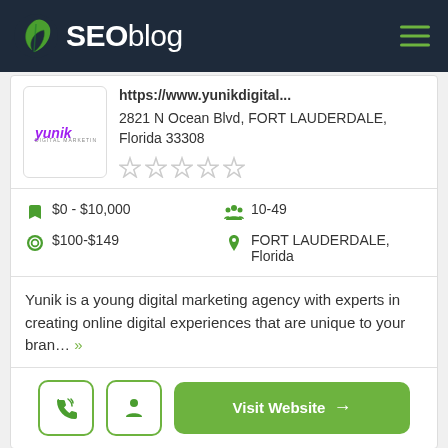SEOblog
https://www.yunikdigital...
2821 N Ocean Blvd, FORT LAUDERDALE, Florida 33308
$0 - $10,000
$100-$149
10-49
FORT LAUDERDALE, Florida
Yunik is a young digital marketing agency with experts in creating online digital experiences that are unique to your bran… »
Visit Website →